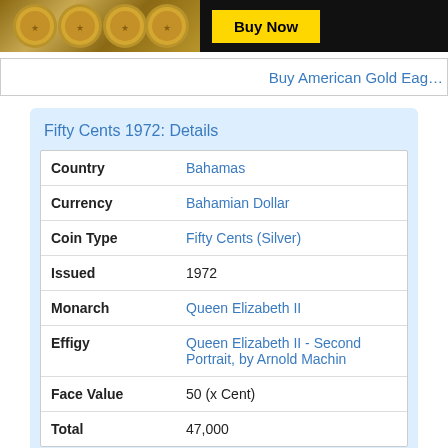[Figure (photo): Banner advertisement showing gold coins and a yellow Buy Now button on black background]
Buy American Gold Eag…
Fifty Cents 1972: Details
| Country | Bahamas |
| Currency | Bahamian Dollar |
| Coin Type | Fifty Cents (Silver) |
| Issued | 1972 |
| Monarch | Queen Elizabeth II |
| Effigy | Queen Elizabeth II - Second Portrait, by Arnold Machin |
| Face Value | 50 (x Cent) |
| Total | 47,000 |